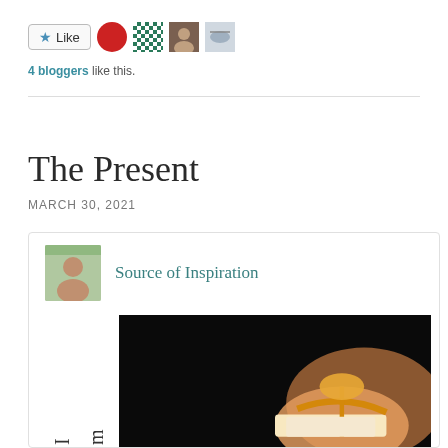[Figure (other): Like button with star icon, red circle avatar, teal pattern avatar, two photo avatars]
4 bloggers like this.
The Present
MARCH 30, 2021
Source of Inspiration
I
m
us
t
[Figure (photo): Dark background photo showing hands holding a wrapped gift with gold/orange ribbon]